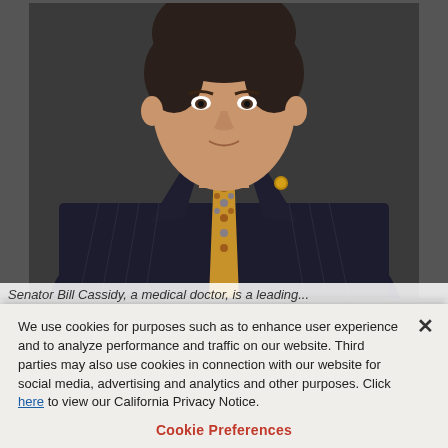[Figure (photo): Portrait photo of Senator Bill Cassidy wearing a dark pinstripe suit with a gold patterned tie and light blue dress shirt, with a lapel pin visible]
Senator Bill Cassidy, a medical doctor, is a leading...
We use cookies for purposes such as to enhance user experience and to analyze performance and traffic on our website. Third parties may also use cookies in connection with our website for social media, advertising and analytics and other purposes. Click here to view our California Privacy Notice.
Cookie Preferences